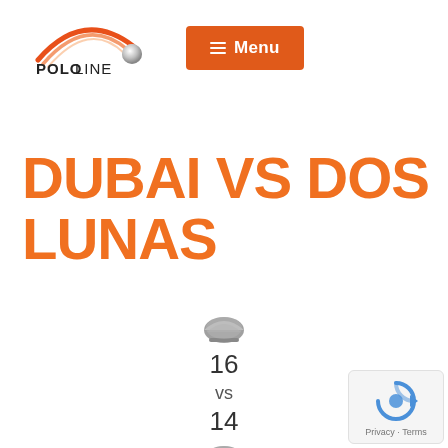[Figure (logo): Pololine logo with orange arc lines and polo ball, and orange Menu button]
DUBAI VS DOS LUNAS
16 vs 14
[Figure (illustration): Two polo helmet icons with score 16 vs 14 between them]
Privacy · Terms